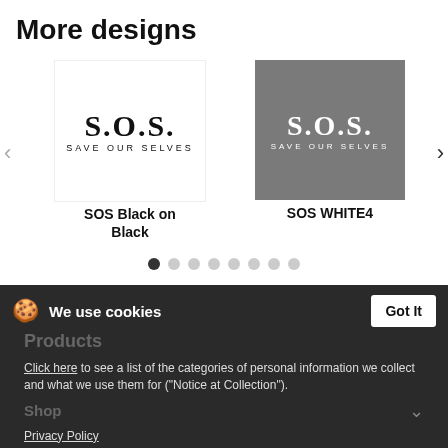More designs
[Figure (illustration): SOS Save Our Selves logo in black on white background, carousel product image]
SOS Black on Black
[Figure (illustration): SOS Save Our Selves logo in white on dark gray background, carousel product image]
SOS WHITE4
Products
We use cookies
Click here to see a list of the categories of personal information we collect and what we use them for ("Notice at Collection").
Shop
Privacy Policy
Do Not Sell My Personal Information
By using this website, I agree to the Terms and Conditions
Service